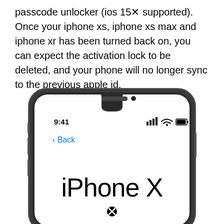passcode unlocker (ios 15🚫 supported). Once your iphone xs, iphone xs max and iphone xr has been turned back on, you can expect the activation lock to be deleted, and your phone will no longer sync to the previous apple id.
[Figure (screenshot): iPhone X device mockup showing the top portion of the phone with a notch, status bar showing 9:41 time, signal/wifi/battery icons, a blue Back button, and large text reading 'iPhone X' with a blocked/error icon below it.]